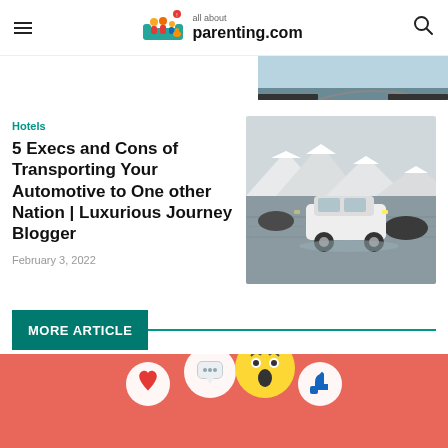all about parenting.com
[Figure (photo): Partial image of a road/landscape visible at the top right corner]
Hotels
5 Execs and Cons of Transporting Your Automotive to One other Nation | Luxurious Journey Blogger
February 3, 2022
[Figure (photo): A white Honda CR-V SUV crossing a shallow river with snow-capped mountains in the background]
MORE ARTICLE
[Figure (photo): Coral/salmon pink background with 3D social media emoji icons including heart, comment, surprised face, and thumbs up]